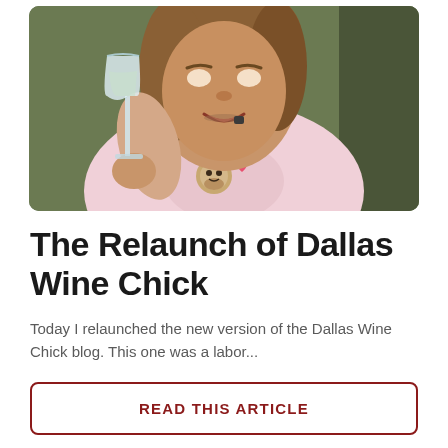[Figure (photo): A young girl holding a wine glass (water/white wine), wearing a pink t-shirt with a cartoon monkey print, smiling, photographed indoors with a warm background.]
The Relaunch of Dallas Wine Chick
Today I relaunched the new version of the Dallas Wine Chick blog. This one was a labor...
READ THIS ARTICLE